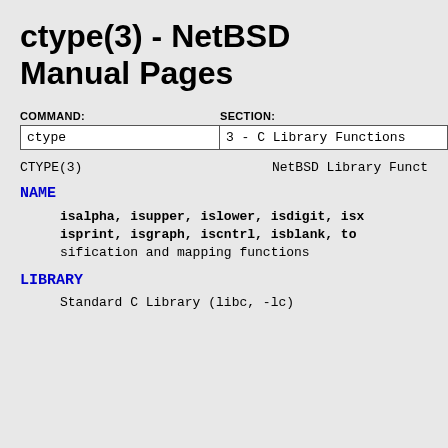ctype(3) - NetBSD Manual Pages
COMMAND: ctype   SECTION: 3 - C Library Functions
CTYPE(3)   NetBSD Library Funct
NAME
isalpha, isupper, islower, isdigit, isx isprint, isgraph, iscntrl, isblank, to sification and mapping functions
LIBRARY
Standard C Library (libc, -lc)